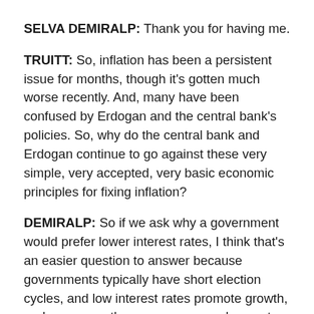SELVA DEMIRALP: Thank you for having me.
TRUITT: So, inflation has been a persistent issue for months, though it's gotten much worse recently. And, many have been confused by Erdogan and the central bank's policies. So, why do the central bank and Erdogan continue to go against these very simple, very accepted, very basic economic principles for fixing inflation?
DEMIRALP: So if we ask why a government would prefer lower interest rates, I think that's an easier question to answer because governments typically have short election cycles, and low interest rates promote growth, and more growth means more employment and therefore more votes for the government. So it's not just specific to Turkey to see the government preferring low interest rates, like very recently in the United States with former President